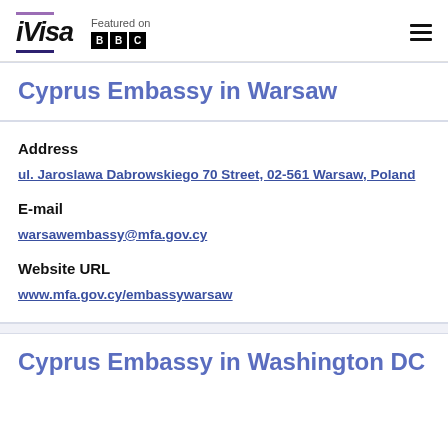iVisa | Featured on BBC
Cyprus Embassy in Warsaw
Address
ul. Jaroslawa Dabrowskiego 70 Street, 02-561 Warsaw, Poland
E-mail
warsawembassy@mfa.gov.cy
Website URL
www.mfa.gov.cy/embassywarsaw
Cyprus Embassy in Washington DC